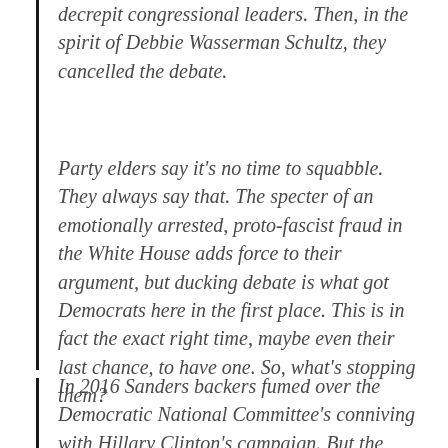decrepit congressional leaders. Then, in the spirit of Debbie Wasserman Schultz, they cancelled the debate.
Party elders say it's no time to squabble. They always say that. The specter of an emotionally arrested, proto-fascist fraud in the White House adds force to their argument, but ducking debate is what got Democrats here in the first place. This is in fact the exact right time, maybe even their last chance, to have one. So, what's stopping them?
In 2016 Sanders backers fumed over the Democratic National Committee's conniving with Hillary Clinton's campaign. But the DNC